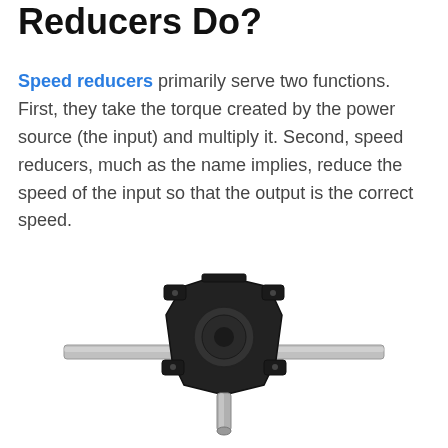Reducers Do?
Speed reducers primarily serve two functions. First, they take the torque created by the power source (the input) and multiply it. Second, speed reducers, much as the name implies, reduce the speed of the input so that the output is the correct speed.
[Figure (photo): A mechanical speed reducer / gearbox component shown from the front, with a horizontal shaft extending left and right, and a vertical output shaft pointing downward. The gearbox body is dark/black colored metal.]